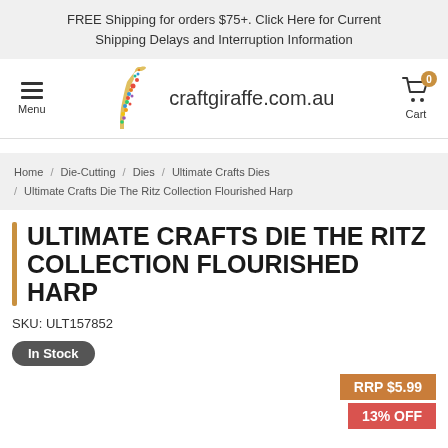FREE Shipping for orders $75+. Click Here for Current Shipping Delays and Interruption Information
[Figure (logo): Craft Giraffe logo with colorful giraffe silhouette and text craftgiraffe.com.au, hamburger menu icon on left, shopping cart with badge 0 on right]
Home / Die-Cutting / Dies / Ultimate Crafts Dies / Ultimate Crafts Die The Ritz Collection Flourished Harp
ULTIMATE CRAFTS DIE THE RITZ COLLECTION FLOURISHED HARP
SKU: ULT157852
In Stock
RRP $5.99
13% OFF